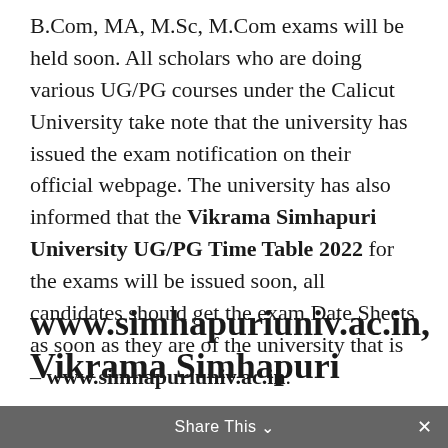B.Com, MA, M.Sc, M.Com exams will be held soon. All scholars who are doing various UG/PG courses under the Calicut University take note that the university has issued the exam notification on their official webpage. The university has also informed that the Vikrama Simhapuri University UG/PG Time Table 2022 for the exams will be issued soon, all candidates should get the exam Date Sheets as soon as they are of the university that is – www.simhapuriuniv.ac.in.
www.simhapuriuniv.ac.in, Vikrama Simhapuri
Share This